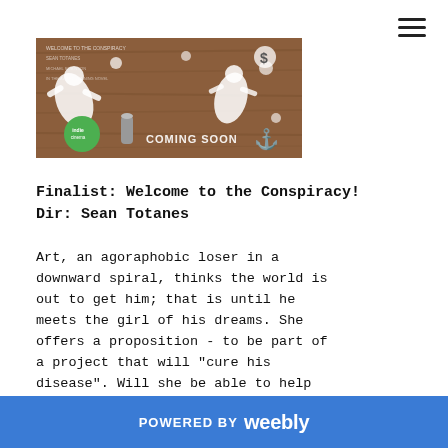[Figure (photo): A photograph showing paper cutout sticker figures on a wooden background with text overlaid reading 'COMING SOON'. There is a green circular badge/logo in the lower left of the image.]
Finalist: Welcome to the Conspiracy!
Dir: Sean Totanes
Art, an agoraphobic loser in a downward spiral, thinks the world is out to get him; that is until he meets the girl of his dreams. She offers a proposition - to be part of a project that will "cure his disease". Will she be able to help
POWERED BY weebly